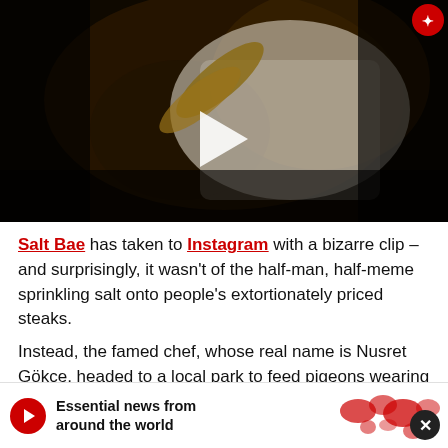[Figure (screenshot): Dark video thumbnail showing a person in a white t-shirt with a play button overlay in the center, and a red circular logo in the top right corner.]
Salt Bae has taken to Instagram with a bizarre clip – and surprisingly, it wasn't of the half-man, half-meme sprinkling salt onto people's extortionately priced steaks.
Instead, the famed chef, whose real name is Nusret Gökçe, headed to a local park to feed pigeons wearing what appears                                    pull-ups.
[Figure (infographic): Banner advertisement: red circular logo on left, bold text 'Essential news from around the world', world map graphic on right, X close button on far right.]